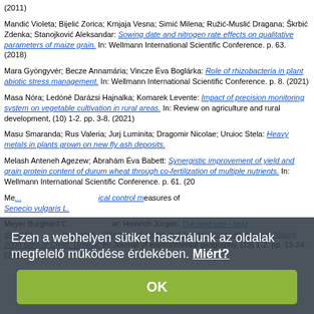(2011)
Mandić Violeta; Bijelić Zorica; Krnjaja Vesna; Simić Milena; Ružić-Muslić Dragana; Škrbić Zdenka; Stanojković Aleksandar: Sowing date and nitrogen rate effects on qualitative parameters of maize grain. In: Wellmann International Scientific Conference. p. 63. (2018)
Mara Gyöngyvér; Becze Annamária; Vincze Éva Boglárka: Role of rhizobacteria in plant abiotic stress management. In: Wellmann International Scientific Conference. p. 8. (2021)
Masa Nóra; Ledóné Darázsi Hajnalka; Komarek Levente: Impact of precision monitoring system on vegetable cultivation in rural areas. In: Review on agriculture and rural development, (10) 1-2. pp. 3-8. (2021)
Masu Smaranda; Rus Valeria; Jurj Luminita; Dragomir Nicolae; Uruioc Stela: Heavy metals in plants grown on new fly ash deposits.
Melash Anteneh Agezew; Ábrahám Éva Babett: Synergistic improvement of yield and grain protein content of durum wheat through co-fertilization of multiple nutrients. In: Wellmann International Scientific Conference. p. 61. (20...
Me... biological control measures of Senecio vulgaris L.
Meyer Burghard C...; Heinrich Jürgen: The land use - land degrada... ndscapes - drivers of changes and key processes at selected Natura 2000 sites of Crete, Greece. In: Journal of environmental geography, (13) 1-2. pp. 13-24. (2020)
Ezen a webhelyen sütiket használunk az oldalak megfelelő működése érdekében. Miért?
OK